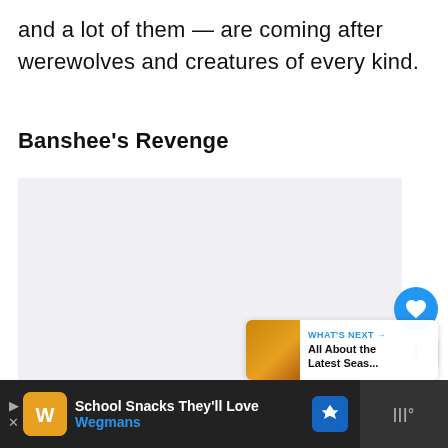and a lot of them — are coming after werewolves and creatures of every kind.
Banshee's Revenge
[Figure (illustration): Large light gray image placeholder area for book or article illustration]
WHAT'S NEXT → All About the Latest Seas...
School Snacks They'll Love Wegmans